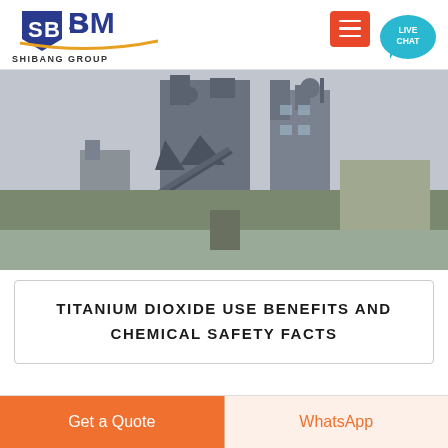SBM SHIBANG GROUP
[Figure (photo): Industrial factory/plant exterior showing large machinery, conveyor systems, hoppers, and structural steel framework of what appears to be a minerals processing or crushing plant]
TITANIUM DIOXIDE USE BENEFITS AND CHEMICAL SAFETY FACTS
Get a Quote
WhatsApp